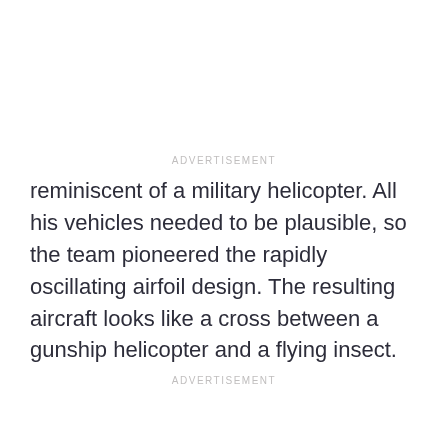ADVERTISEMENT
reminiscent of a military helicopter. All his vehicles needed to be plausible, so the team pioneered the rapidly oscillating airfoil design. The resulting aircraft looks like a cross between a gunship helicopter and a flying insect.
ADVERTISEMENT